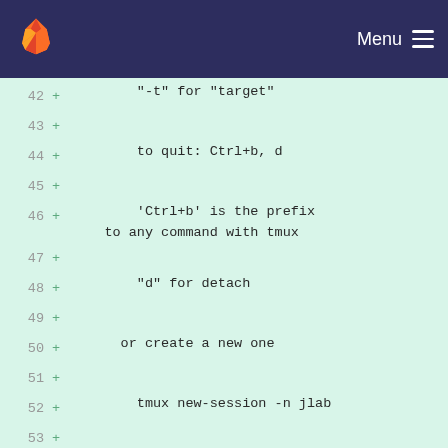GitLab — Menu
[Figure (screenshot): Code diff view showing lines 42-58 with added lines (marked +) containing tmux and jupyter lab instructions on a light green background]